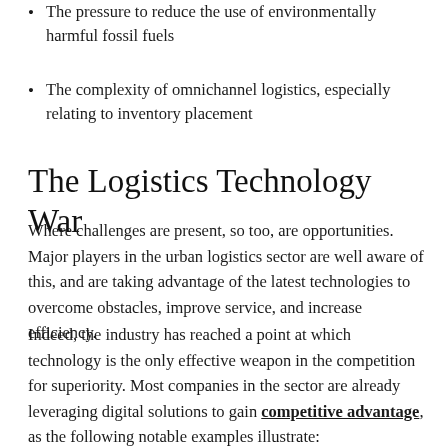The pressure to reduce the use of environmentally harmful fossil fuels
The complexity of omnichannel logistics, especially relating to inventory placement
The Logistics Technology War
Where challenges are present, so too, are opportunities. Major players in the urban logistics sector are well aware of this, and are taking advantage of the latest technologies to overcome obstacles, improve service, and increase efficiency.
Indeed, the industry has reached a point at which technology is the only effective weapon in the competition for superiority. Most companies in the sector are already leveraging digital solutions to gain competitive advantage, as the following notable examples illustrate: